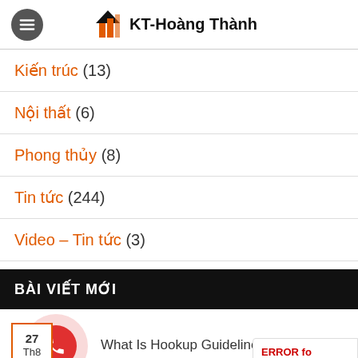KT-Hoàng Thành
Kiến trúc (13)
Nội thất (6)
Phong thủy (8)
Tin tức (244)
Video – Tin tức (3)
BÀI VIẾT MỚI
What Is Hookup Guideline?
ERROR for site owner: Invalid do